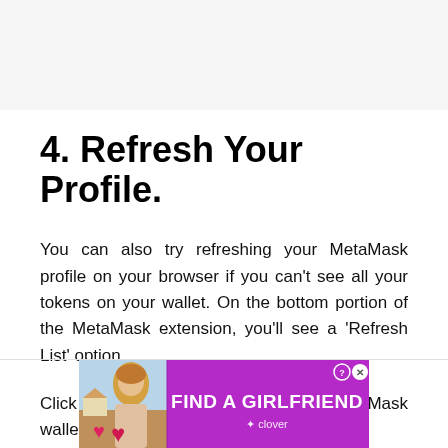4. Refresh Your Profile.
You can also try refreshing your MetaMask profile on your browser if you can't see all your tokens on your wallet. On the bottom portion of the MetaMask extension, you'll see a 'Refresh List' option.
Click on the button to refresh your MetaMask wallet.
[Figure (infographic): Advertisement banner: purple background with a woman photo on the left, hearts, text 'FIND A GIRLFRIEND' in bold white, close and help icons, and 'clover' brand name at bottom]